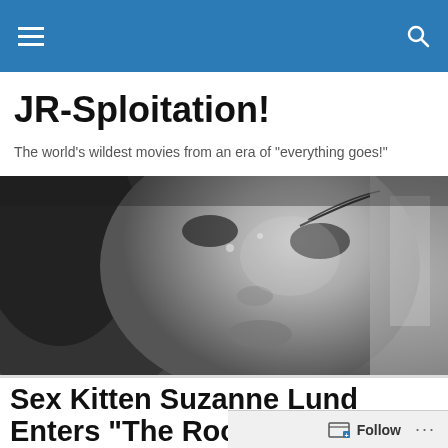JR-Sploitation! — navigation bar
JR-Sploitation!
The world's wildest movies from an era of "everything goes!"
[Figure (photo): Black and white close-up photograph of a young woman looking upward, cropped to show face and upper body]
Sex Kitten Suzanne Lund Enters “The Room Of Chains!” Vintage Newspaper Ads Offer Up Films “In Blazing Color”
Follow